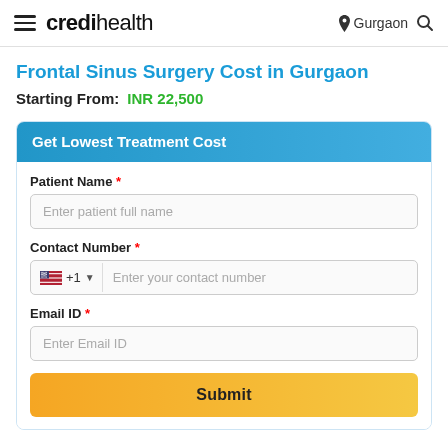credihealth — Gurgaon
Frontal Sinus Surgery Cost in Gurgaon
Starting From: INR 22,500
Get Lowest Treatment Cost
Patient Name * — Enter patient full name
Contact Number * — +1 Enter your contact number
Email ID * — Enter Email ID
Submit